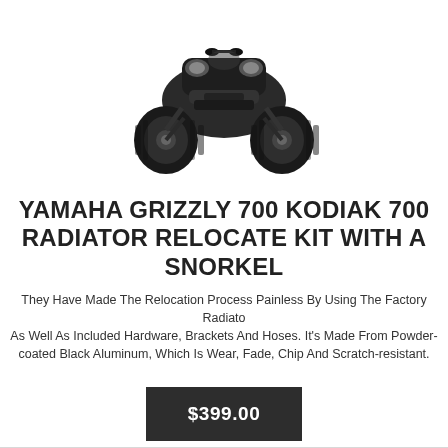[Figure (photo): Front view of a Yamaha Grizzly 700 / Kodiak 700 ATV in black, photographed from the front showing the front wheels, body, and headlights against a white background.]
YAMAHA GRIZZLY 700 KODIAK 700 RADIATOR RELOCATE KIT WITH A SNORKEL
They Have Made The Relocation Process Painless By Using The Factory Radiato As Well As Included Hardware, Brackets And Hoses. It's Made From Powder-coated Black Aluminum, Which Is Wear, Fade, Chip And Scratch-resistant.
$399.00